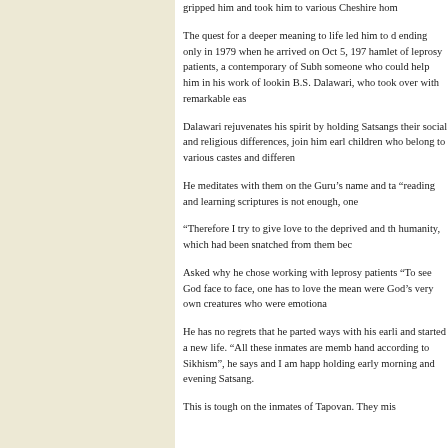gripped him and took him to various Cheshire hom
The quest for a deeper meaning to life led him to d ending only in 1979 when he arrived on Oct 5, 197 hamlet of leprosy patients, a contemporary of Subh someone who could help him in his work of lookin B.S. Dalawari, who took over with remarkable eas
Dalawari rejuvenates his spirit by holding Satsangs their social and religious differences, join him earl children who belong to various castes and differen
He meditates with them on the Guru’s name and ta “reading and learning scriptures is not enough, one
“Therefore I try to give love to the deprived and th humanity, which had been snatched from them bec
Asked why he chose working with leprosy patients “To see God face to face, one has to love the mean were God’s very own creatures who were emotiona
He has no regrets that he parted ways with his earli and started a new life. “All these inmates are memb hand according to Sikhism”, he says and I am happ holding early morning and evening Satsang.
This is tough on the inmates of Tapovan. They mis